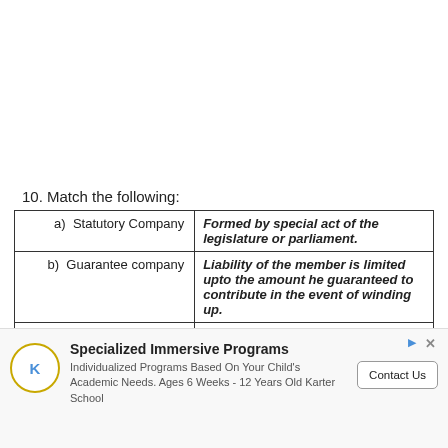10. Match the following:
| a)  Statutory Company | Formed by special act of the legislature or parliament. |
| b)  Guarantee company | Liability of the member is limited upto the amount he guaranteed to contribute in the event of winding up. |
| c)  Deemed public company | Holds 25% of paid up capital of a public company |
| d)  Chartered companies | Incorporated under special charter by the king or |
[Figure (other): Advertisement banner for Karter School: Specialized Immersive Programs. Individualized Programs Based On Your Child's Academic Needs. Ages 6 Weeks - 12 Years Old Karter School. Contact Us button.]